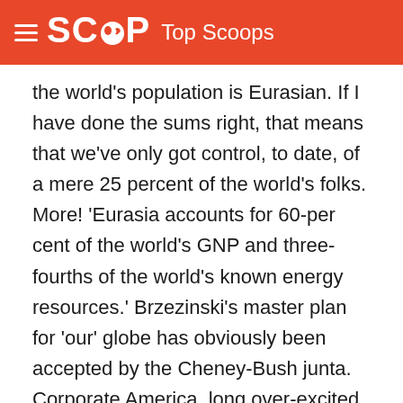SCOOP Top Scoops
the world's population is Eurasian. If I have done the sums right, that means that we've only got control, to date, of a mere 25 percent of the world's folks. More! 'Eurasia accounts for 60-per cent of the world's GNP and three-fourths of the world's known energy resources.' Brzezinski's master plan for 'our' globe has obviously been accepted by the Cheney-Bush junta. Corporate America, long over-excited by Eurasian mineral wealth, has been aboard from the beginning.
Ahmed sums up: 'Brzezinski clearly envisaged that the establishment, consolidation and expansion of US military hegemony over Eurasia through Central Asia would require the unprecedented, open-ended